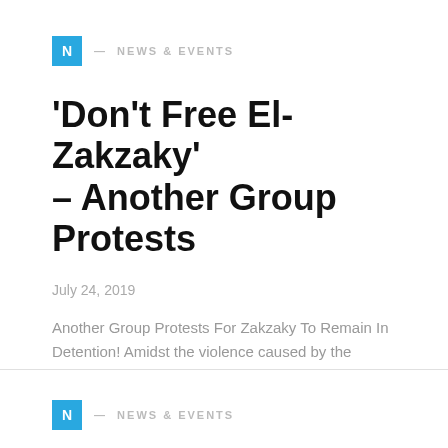N — NEWS & EVENTS
'Don't Free El-Zakzaky' – Another Group Protests
July 24, 2019
Another Group Protests For Zakzaky To Remain In Detention! Amidst the violence caused by the members of Islamic…
N — NEWS & EVENTS